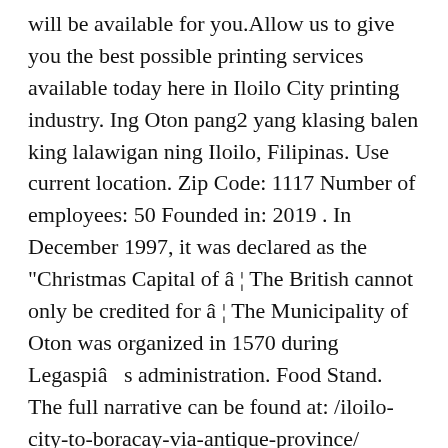will be available for you.Allow us to give you the best possible printing services available today here in Iloilo City printing industry. Ing Oton pang2 yang klasing balen king lalawigan ning Iloilo, Filipinas. Use current location. Zip Code: 1117 Number of employees: 50 Founded in: 2019 . In December 1997, it was declared as the "Christmas Capital of â¦ The British cannot only be credited for â¦ The Municipality of Oton was organized in 1570 during Legaspiâ s administration. Food Stand. The full narrative can be found at: /iloilo-city-to-boracay-via-antique-province/ Comments, corrections and additional information on Caticlan, Aklan are appreciated. â¦ Since its establishment, a radial road network which radiates from the fort is